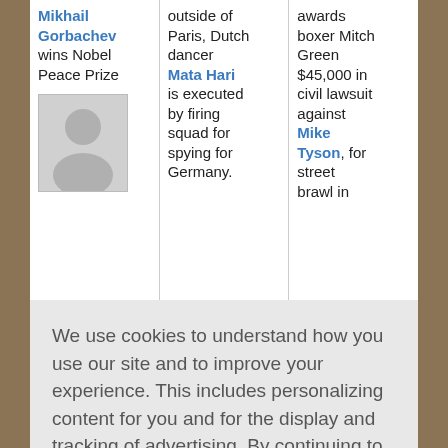Mikhail Gorbachev wins Nobel Peace Prize
[Figure (illustration): Generic person silhouette avatar placeholder image]
outside of Paris, Dutch dancer Mata Hari is executed by firing squad for spying for Germany.
awards boxer Mitch Green $45,000 in civil lawsuit against Mike Tyson, for street brawl in
We use cookies to understand how you use our site and to improve your experience. This includes personalizing content for you and for the display and tracking of advertising. By continuing to use our site, you accept and agree to our use of cookies.  Privacy Policy
Got it!
Have Not"